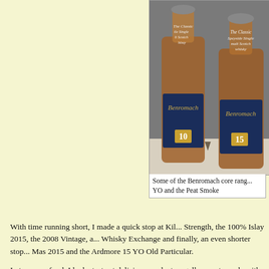[Figure (photo): Two Benromach whisky bottles side by side. Left bottle is Benromach 10 YO, right is Benromach 15 YO. Both labeled as The Classic Speyside Single Malt Scotch Whisky.]
Some of the Benromach core rang... YO and the Peat Smoke
With time running short, I made a quick stop at Kil... Strength, the 100% Islay 2015, the 2008 Vintage, a... Whisky Exchange and finally, an even shorter stop... Mas 2015 and the Ardmore 15 YO Old Particular.
In terms on food, I had a taste at delicious products... gelly sweets made with whisky.